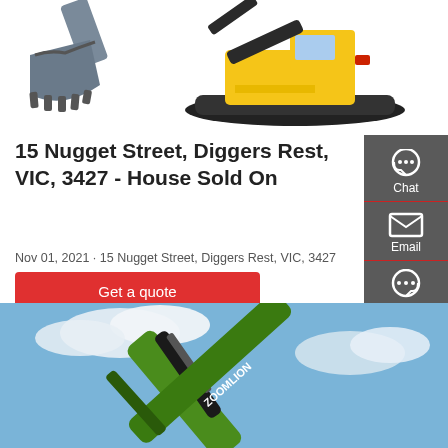[Figure (photo): Excavator bucket attachment on left and yellow excavator machine on right, white background]
15 Nugget Street, Diggers Rest, VIC, 3427 - House Sold On
Nov 01, 2021 · 15 Nugget Street, Diggers Rest, VIC, 3427
Get a quote
[Figure (illustration): Right sidebar with dark grey background showing Chat, Email, and Contact icons]
[Figure (photo): Green Zoomlion excavator boom against a blue sky with clouds]